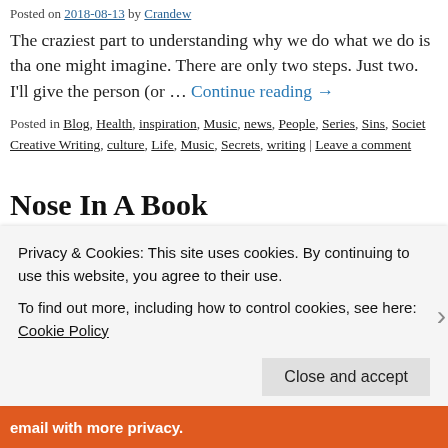Posted on 2018-08-13 by Crandew
The craziest part to understanding why we do what we do is tha one might imagine. There are only two steps. Just two. I'll give the person (or … Continue reading →
Posted in Blog, Health, inspiration, Music, news, People, Series, Sins, Societ Creative Writing, culture, Life, Music, Secrets, writing | Leave a comment
Nose In A Book
Posted on 2018-08-11 by Crandew
Have you ever been accused of this, having your nose buried in might have if you're any sort of writer, and especially if you're thing. … Continue reading →
Privacy & Cookies: This site uses cookies. By continuing to use this website, you agree to their use.
To find out more, including how to control cookies, see here: Cookie Policy
Close and accept
email with more privacy.